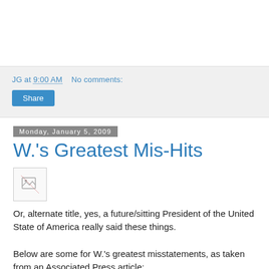JG at 9:00 AM    No comments:
Share
Monday, January 5, 2009
W.'s Greatest Mis-Hits
[Figure (photo): Broken image placeholder]
Or, alternate title, yes, a future/sitting President of the United State of America really said these things.
Below are some for W.'s greatest misstatements, as taken from an Associated Press article: